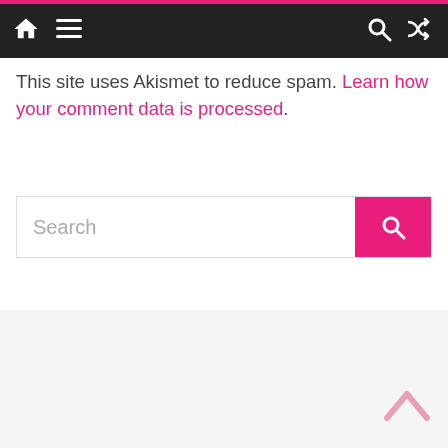[Navigation bar with home icon, menu icon, search icon, shuffle icon]
This site uses Akismet to reduce spam. Learn how your comment data is processed.
[Figure (screenshot): Search bar with text input field showing placeholder 'Search' and a pink search button with magnifying glass icon]
[Figure (other): Gray footer area with pink upward chevron back-to-top button in lower right corner]